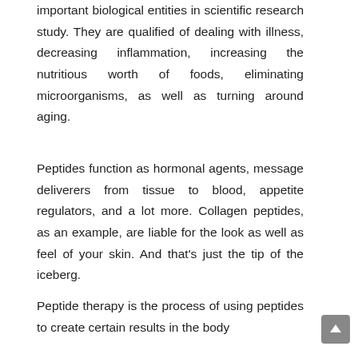important biological entities in scientific research study. They are qualified of dealing with illness, decreasing inflammation, increasing the nutritious worth of foods, eliminating microorganisms, as well as turning around aging.
Peptides function as hormonal agents, message deliverers from tissue to blood, appetite regulators, and a lot more. Collagen peptides, as an example, are liable for the look as well as feel of your skin. And that’s just the tip of the iceberg.
Peptide therapy is the process of using peptides to create certain results in the body